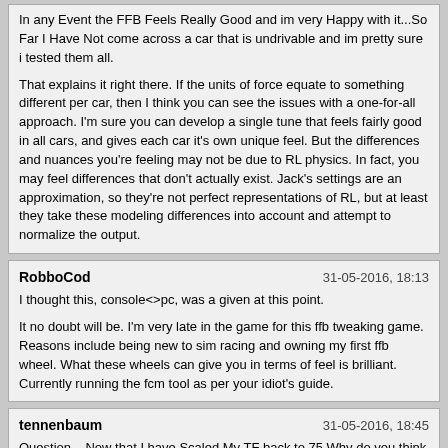In any Event the FFB Feels Really Good and im very Happy with it...So Far I Have Not come across a car that is undrivable and im pretty sure i tested them all.

That explains it right there. If the units of force equate to something different per car, then I think you can see the issues with a one-for-all approach. I'm sure you can develop a single tune that feels fairly good in all cars, and gives each car it's own unique feel. But the differences and nuances you're feeling may not be due to RL physics. In fact, you may feel differences that don't actually exist. Jack's settings are an approximation, so they're not perfect representations of RL, but at least they take these modeling differences into account and attempt to normalize the output.
RobboCod
31-05-2016, 18:13
I thought this, console<>pc, was a given at this point.

It no doubt will be. I'm very late in the game for this ffb tweaking game. Reasons include being new to sim racing and owning my first ffb wheel. What these wheels can give you in terms of feel is brilliant. Currently running the fcm tool as per your idiot's guide.
tennenbaum
31-05-2016, 18:45
Question... Now that I have Scaled My TF back to 75 Why do you think that im still using the invisible Head Room??? Yes I still use Masters 100 but that is so users Have +99 or -99 Room For adjustment per Car ... This Offers Greater ability to taylor the FFB strength per Car... Hmmm I guess i am Compressing the FFB back down with TF 75 in a way by using TF 75 but even when i used TF 100 at No time did i get FFB Flat Lines top or bottom of the FFB Graph it was just Stronger/More Saturated FFB Forces....Even at TF 100 the FFB Spike Tips would Not get cut off due to the 75 RAC... With TF/RAC 75 the Graph Reads the Same Just less Saturated FFB Forces are present in the wheel.

If 100/1.00 is the intuitively Correct Value then why is it Not considered that using settings 101+ is using Compression also and tapping into the invisible